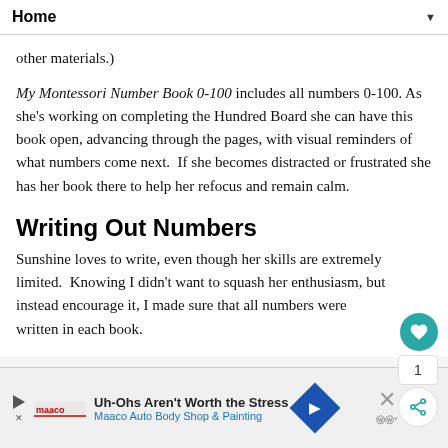Home
other materials.)
My Montessori Number Book 0-100 includes all numbers 0-100. As she's working on completing the Hundred Board she can have this book open, advancing through the pages, with visual reminders of what numbers come next.  If she becomes distracted or frustrated she has her book there to help her refocus and remain calm.
Writing Out Numbers
Sunshine loves to write, even though her skills are extremely limited.  Knowing I didn't want to squash her enthusiasm, but instead encourage it, I made sure that all numbers were written in each book.